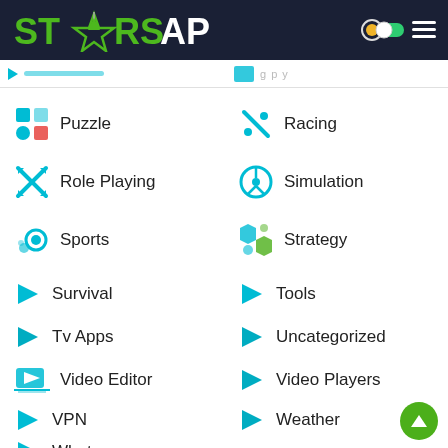STARSAPK
Puzzle
Racing
Role Playing
Simulation
Sports
Strategy
Survival
Tools
Tv Apps
Uncategorized
Video Editor
Video Players
VPN
Weather
Whatsapp